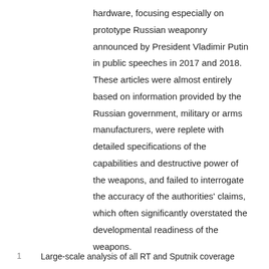hardware, focusing especially on prototype Russian weaponry announced by President Vladimir Putin in public speeches in 2017 and 2018. These articles were almost entirely based on information provided by the Russian government, military or arms manufacturers, were replete with detailed specifications of the capabilities and destructive power of the weapons, and failed to interrogate the accuracy of the authorities' claims, which often significantly overstated the developmental readiness of the weapons.
1  Large-scale analysis of all RT and Sputnik coverage